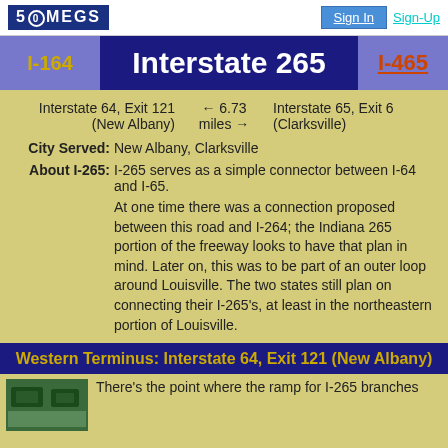50MEGS | Sign In | Sign-Up
Interstate 265
I-164 | Interstate 265 | I-465
| Western Approach | Distance | Eastern Approach |
| --- | --- | --- |
| Interstate 64, Exit 121 (New Albany) | ← 6.73 miles → | Interstate 65, Exit 6 (Clarksville) |
City Served: New Albany, Clarksville
About I-265: I-265 serves as a simple connector between I-64 and I-65.
At one time there was a connection proposed between this road and I-264; the Indiana 265 portion of the freeway looks to have that plan in mind. Later on, this was to be part of an outer loop around Louisville. The two states still plan on connecting their I-265's, at least in the northeastern portion of Louisville.
Western Terminus: Interstate 64, Exit 121 (New Albany)
There's the point where the ramp for I-265 branches